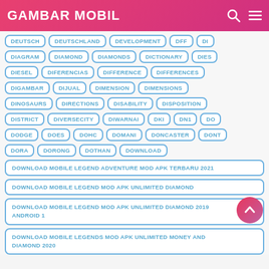GAMBAR MOBIL
DEUTSCH
DEUTSCHLAND
DEVELOPMENT
DFF
DI
DIAGRAM
DIAMOND
DIAMONDS
DICTIONARY
DIES
DIESEL
DIFERENCIAS
DIFFERENCE
DIFFERENCES
DIGAMBAR
DIJUAL
DIMENSION
DIMENSIONS
DINOSAURS
DIRECTIONS
DISABILITY
DISPOSITION
DISTRICT
DIVERSECITY
DIWARNAI
DKI
DN1
DO
DODGE
DOES
DOHC
DOMANI
DONCASTER
DONT
DORA
DORONG
DOTHAN
DOWNLOAD
DOWNLOAD MOBILE LEGEND ADVENTURE MOD APK TERBARU 2021
DOWNLOAD MOBILE LEGEND MOD APK UNLIMITED DIAMOND
DOWNLOAD MOBILE LEGEND MOD APK UNLIMITED DIAMOND 2019 ANDROID 1
DOWNLOAD MOBILE LEGENDS MOD APK UNLIMITED MONEY AND DIAMOND 2020